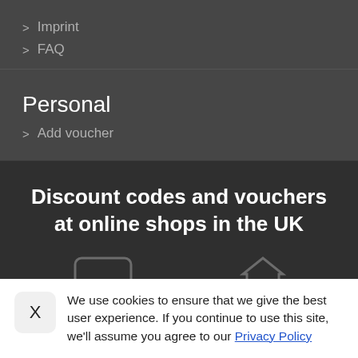> Imprint
> FAQ
Personal
> Add voucher
Discount codes and vouchers at online shops in the UK
We use cookies to ensure that we give the best user experience. If you continue to use this site, we'll assume you agree to our Privacy Policy